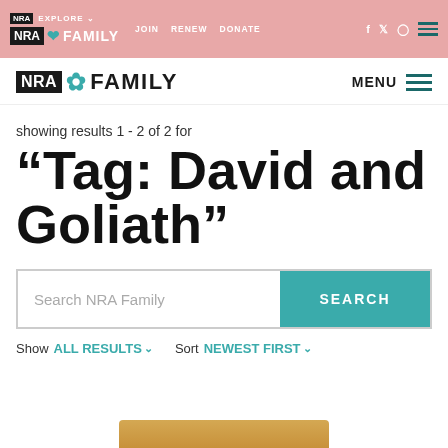NRA EXPLORE | JOIN | RENEW | DONATE | NRA FAMILY | MENU
showing results 1 - 2 of 2 for
“Tag: David and Goliath”
Search NRA Family | SEARCH
Show ALL RESULTS ∨  Sort NEWEST FIRST ∨